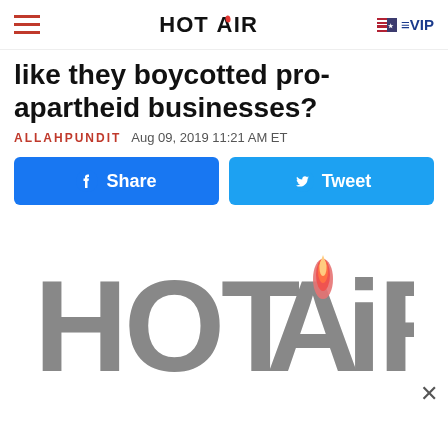HOT AiR  VIP
like they boycotted pro-apartheid businesses?
ALLAHPUNDIT  Aug 09, 2019 11:21 AM ET
[Figure (infographic): Facebook Share button and Twitter Tweet button]
[Figure (logo): Large Hot Air logo in gray with flame icon on the letter A]